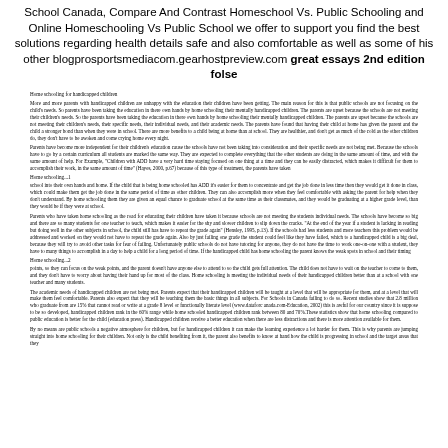School Canada, Compare And Contrast Homeschool Vs. Public Schooling and Online Homeschooling Vs Public School we offer to support you find the best solutions regarding health details safe and also comfortable as well as some of his other blogprosportsmediacom.gearhostpreview.com great essays 2nd edition folse
Home schooling for handicapped children
More and more parents with handicapped children are unhappy with the education their children have been getting. The main reason for this is that public schools are not focusing on the child's needs. So parents have been taking the education in there own hands by home schooling their mentally handicapped children. The parents are upset because the schools are not meeting their children's needs. So the parents have been taking the education in there own hands by home schooling their mentally handicapped children. The parents are upset because the schools are not meeting their children's needs, their specific needs, their individual needs, and their academic needs. The parents have found that having their child at home has given the parent and the child a stronger bond than when they were in school. There are more benefits to a child being at home than at school. They are healthier, and don't get as much of the cold as the other children do, they don't have to be awoken and come crying home every night.
Parents have become more independent for their children's education cause the schools have not been taking into consideration and their specific needs are not being met. Because the schools have to go by a certain curriculum all students are marked the same way. They are expected to complete everything that the other students are doing in the same amount of time, and with the same amount of help. For Example, "Children with ADD have a very hard time staying focused on one thing at a time and they can be easily distracted, which makes it difficult for them to accomplish their work, in the same amount of time" (Hayes, 2000, p.67) because of this type of treatment, the parents have taken
Home schooling...1
school into their own hands and home. If the child that is being home schooled has ADD it's easier for them to concentrate and get the job done in less time then they would get it done in class, which could make them get the job done in the same period of time as other children. They can also accomplish more when they feel comfortable with asking the parent for help when they don't understand. By home schooling them they are given an equal chance to graduate school at the same time as their classmates, and they would be graduating at a higher grade level, than they would be if they were at school.
Parents who have taken home schooling as the road for educating their children have taken it because schools are not meeting the students individual needs. The schools have become so big and there are so many students for one teacher to teach, which makes it easier for the shy and slower children to slip down the cracks. "At the end of the year if a student is lacking in reading but doing well in the other subjects in school, the child still has have to repeat the grade again" (Hensley, 1995, p.13). If the schools had less students and more teachers this problem would be addressed and worked on they would not have to repeat the grade again. Also by just failing one grade the student could feel like they have failed, which to a handicapped child is a big deal, because they will try to avoid other tasks for fear of failing. Unfortunately public schools do not have tutoring for anyone, they do not have the time to work one-on-one with a student, they have to many things to accomplish in a day to help a child for a long period of time. If the handicapped child has home schooling the parent knows the weak spots in school and their timing
Home schooling...2
points, so they can focus on the weak points, and the parent doesn't have anyone else to attend to so the child gets full attention. The child does not have to wait on the teacher to come to them, and they don't have to worry about having their hand up for most of the class. Home schooling is meeting the individual needs of their handicapped children better than at a school with one teacher and many students.
The academic needs of handicapped children are not being met. Parents expect that their handicapped children will be taught at a level that will be appropriate for them, and at a level that will make them feel comfortable. Parents also expect that they will be teaching them the basic things in all subjects. For Schools in Canada failing to do so. Recent studies show that 2.8 million who graduate from are 15% that cannot read or write at a grade 8 level or functionally literate level (www.dataforc anada.com-Education, 2002) this is awful for our country since it is suppose to be so developed, handicapped children rank in the 60% range while home schooled handicapped children rank between 80 and 70%.These statistics show that home schooling compared to public education is better for the child (education press). Handicapped children receive a better education when there are less distractions and there is more attention available for them.
By no means are public schools a negative atmosphere for children, but for handicapped children it can make the learning experience a lot harder for them. This is why parents are jumping straight into home schooling for their children. Not only is the child benefiting from it, the parent also benefits to know at hand how the child is progressing in school and the target areas that they